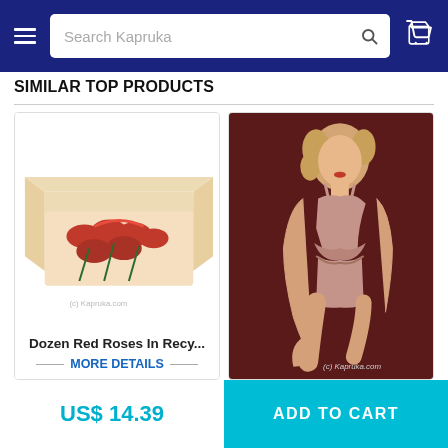[Figure (screenshot): E-commerce website header with hamburger menu, search bar labeled 'Search Kapruka', search icon and cart icon on dark blue background]
SIMILAR TOP PRODUCTS
[Figure (photo): Product card showing a box of dozen red roses with ribbon, product name 'Dozen Red Roses In Recy...' and MORE DETAILS link]
[Figure (photo): Product card showing a woman modeling pink satin lingerie set with cami top and shorts against dark red background, with Kapruka.com watermark]
US$ 14.39
ADD TO CART